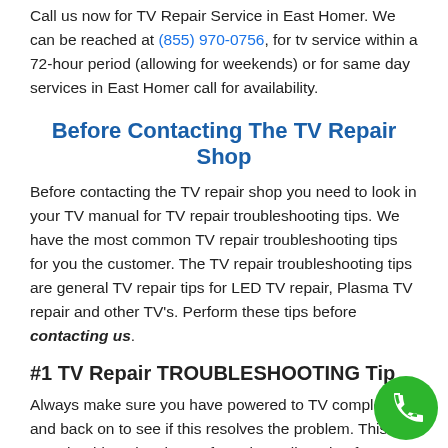Call us now for TV Repair Service in East Homer. We can be reached at (855) 970-0756, for tv service within a 72-hour period (allowing for weekends) or for same day services in East Homer call for availability.
Before Contacting The TV Repair Shop
Before contacting the TV repair shop you need to look in your TV manual for TV repair troubleshooting tips. We have the most common TV repair troubleshooting tips for you the customer. The TV repair troubleshooting tips are general TV repair tips for LED TV repair, Plasma TV repair and other TV's. Perform these tips before contacting us.
#1 TV Repair TROUBLESHOOTING Tip
Always make sure you have powered to TV completely and back on to see if this resolves the problem. This you should unplug the TV from the wall. Wait a few